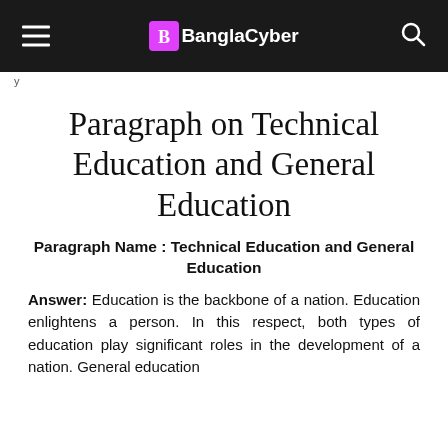BanglaCyber
Paragraph on Technical Education and General Education
Paragraph Name : Technical Education and General Education
Answer: Education is the backbone of a nation. Education enlightens a person. In this respect, both types of education play significant roles in the development of a nation. General education